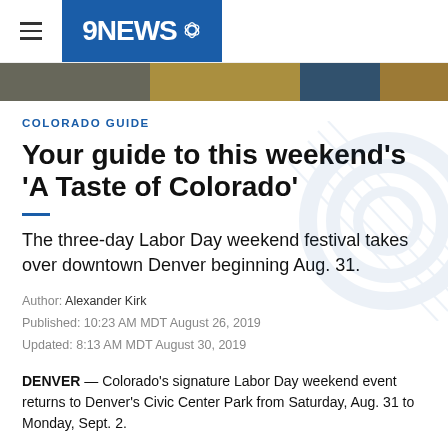9NEWS
[Figure (photo): Horizontal image strip showing food and event photos]
COLORADO GUIDE
Your guide to this weekend's 'A Taste of Colorado'
The three-day Labor Day weekend festival takes over downtown Denver beginning Aug. 31.
Author: Alexander Kirk
Published: 10:23 AM MDT August 26, 2019
Updated: 8:13 AM MDT August 30, 2019
DENVER — Colorado's signature Labor Day weekend event returns to Denver's Civic Center Park from Saturday, Aug. 31 to Monday, Sept. 2.